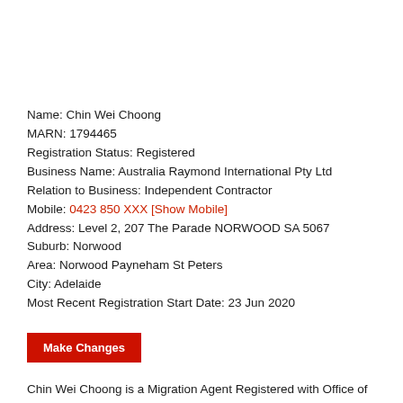Name: Chin Wei Choong
MARN: 1794465
Registration Status: Registered
Business Name: Australia Raymond International Pty Ltd
Relation to Business: Independent Contractor
Mobile: 0423 850 XXX [Show Mobile]
Address: Level 2, 207 The Parade NORWOOD SA 5067
Suburb: Norwood
Area: Norwood Payneham St Peters
City: Adelaide
Most Recent Registration Start Date: 23 Jun 2020
Make Changes
Chin Wei Choong is a Migration Agent Registered with Office of